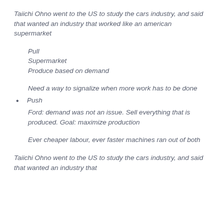Taiichi Ohno went to the US to study the cars industry, and said that wanted an industry that worked like an american supermarket
Pull
Supermarket
Produce based on demand
Need a way to signalize when more work has to be done
Push
Ford: demand was not an issue. Sell everything that is produced. Goal: maximize production
Ever cheaper labour, ever faster machines ran out of both
Taiichi Ohno went to the US to study the cars industry, and said that wanted an industry that